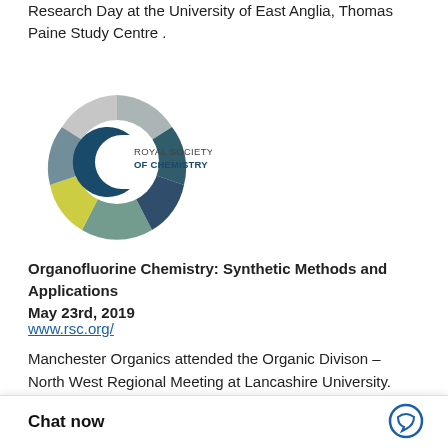Research Day at the University of East Anglia, Thomas Paine Study Centre .
[Figure (logo): Royal Society of Chemistry circular logo with multi-colored arc segments in teal, grey, dark blue, and yellow-green, with 'ROYAL SOCIETY OF CHEMISTRY' text]
Organofluorine Chemistry: Synthetic Methods and Applications
May 23rd, 2019
www.rsc.org/
Manchester Organics attended the Organic Divison – North West Regional Meeting at Lancashire University.
[Figure (logo): EFMC European Federation for Medicinal Chemistry logo - dark blue hexagon shape with bird/fish design and EFMC text with full name]
Chat now